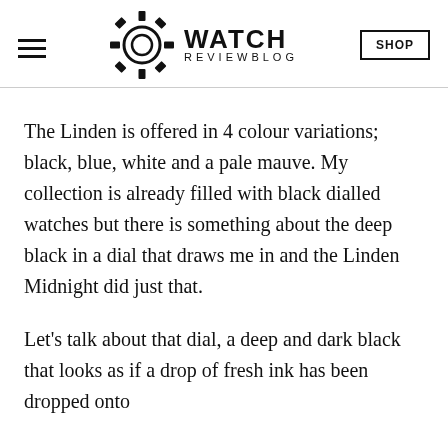WATCH REVIEWBLOG
The Linden is offered in 4 colour variations; black, blue, white and a pale mauve. My collection is already filled with black dialled watches but there is something about the deep black in a dial that draws me in and the Linden Midnight did just that.
Let’s talk about that dial, a deep and dark black that looks as if a drop of fresh ink has been dropped onto